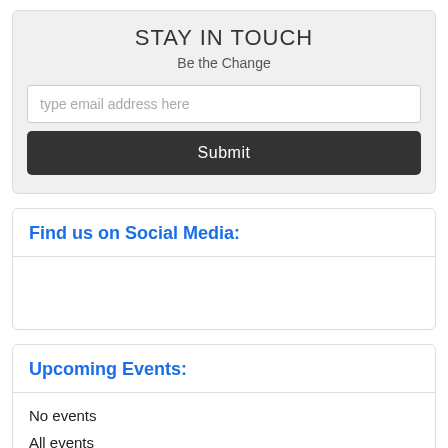STAY IN TOUCH
Be the Change
type email address here
Submit
Find us on Social Media:
Upcoming Events:
No events
All events
Events Calendar: